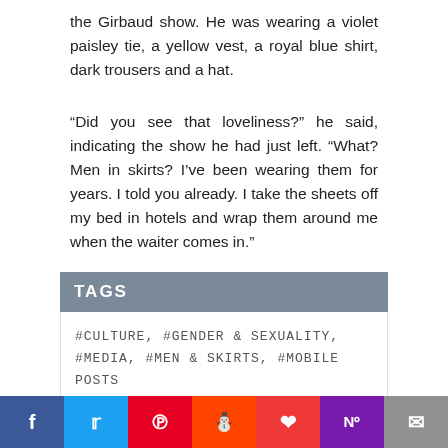the Girbaud show. He was wearing a violet paisley tie, a yellow vest, a royal blue shirt, dark trousers and a hat.
“Did you see that loveliness?” he said, indicating the show he had just left. “What? Men in skirts? I’ve been wearing them for years. I told you already. I take the sheets off my bed in hotels and wrap them around me when the waiter comes in.”
TAGS
#CULTURE, #GENDER & SEXUALITY, #MEDIA, #MEN & SKIRTS, #MOBILE POSTS
Comments & Replies
Social share bar: Facebook, Twitter, Pinterest, Reddit, Pocket, OneNote, Email